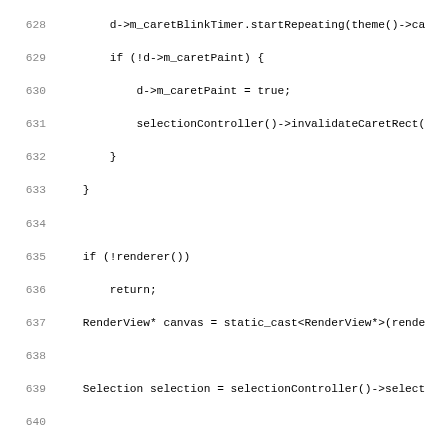[Figure (screenshot): Source code viewer showing C++ code lines 628–659 with line numbers on the left in gray and code on the right in monospace font. The code involves caret blink timer, renderer, selection, and render object logic.]